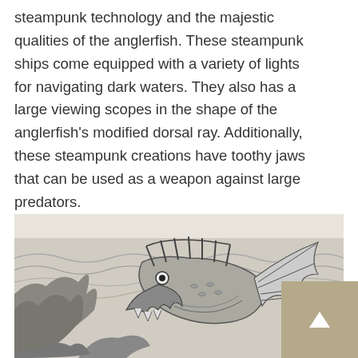steampunk technology and the majestic qualities of the anglerfish. These steampunk ships come equipped with a variety of lights for navigating dark waters. They also has a large viewing scopes in the shape of the anglerfish's modified dorsal ray. Additionally, these steampunk creations have toothy jaws that can be used as a weapon against large predators.
[Figure (illustration): Black and white engraving-style illustration of a steampunk mechanical fish creature with skeletal ribbed fins, a fan-like tail, and toothy jaws, emerging from ocean waves with large rock formations in the background.]